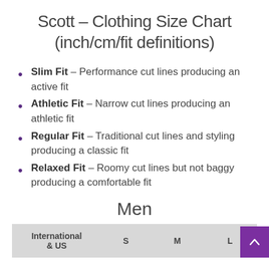Scott – Clothing Size Chart (inch/cm/fit definitions)
Slim Fit – Performance cut lines producing an active fit
Athletic Fit – Narrow cut lines producing an athletic fit
Regular Fit – Traditional cut lines and styling producing a classic fit
Relaxed Fit – Roomy cut lines but not baggy producing a comfortable fit
Men
| International & US | S | M | L |
| --- | --- | --- | --- |